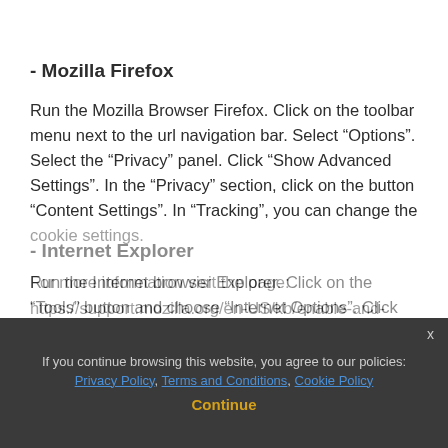- Mozilla Firefox
Run the Mozilla Browser Firefox. Click on the toolbar menu next to the url navigation bar. Select “Options”. Select the “Privacy” panel. Click “Show Advanced Settings”. In the “Privacy” section, click on the button “Content Settings”. In “Tracking”, you can change the cookie settings.
For more information visit the page: https://support.mozilla.org/en-US/kb/enable-and-disable-cookies-website-preferences
- Internet Explorer
Run the Internet browser Explorer. Click on the “Tools” button and choose “Internet Options”. Click on the
If you continue browsing this website, you agree to our policies: Privacy Policy, Terms and Conditions, Cookie Policy
Continue